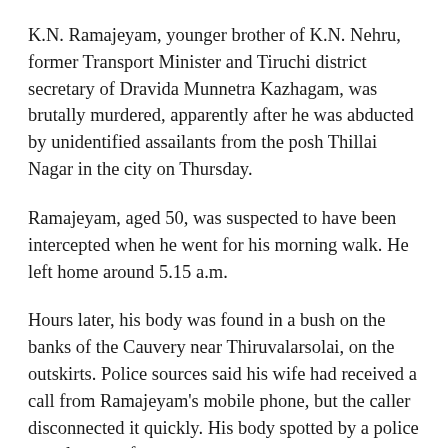K.N. Ramajeyam, younger brother of K.N. Nehru, former Transport Minister and Tiruchi district secretary of Dravida Munnetra Kazhagam, was brutally murdered, apparently after he was abducted by unidentified assailants from the posh Thillai Nagar in the city on Thursday.
Ramajeyam, aged 50, was suspected to have been intercepted when he went for his morning walk. He left home around 5.15 a.m.
Hours later, his body was found in a bush on the banks of the Cauvery near Thiruvalarsolai, on the outskirts. Police sources said his wife had received a call from Ramajeyam's mobile phone, but the caller disconnected it quickly. His body spotted by a police patrol team a few